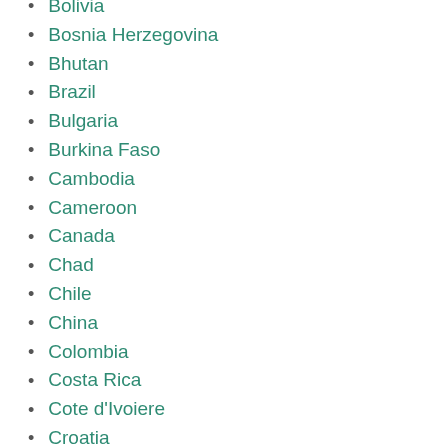Bolivia
Bosnia Herzegovina
Bhutan
Brazil
Bulgaria
Burkina Faso
Cambodia
Cameroon
Canada
Chad
Chile
China
Colombia
Costa Rica
Cote d'Ivoiere
Croatia
Cuba
Cyprus
Czech Republic